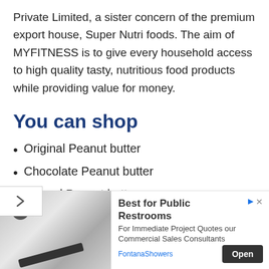Private Limited, a sister concern of the premium export house, Super Nutri foods. The aim of MYFITNESS is to give every household access to high quality tasty, nutritious food products while providing value for money.
You can shop
Original Peanut butter
Chocolate Peanut butter
Natural Peanut butter
Honey Peanut butter (partially visible)
[Figure (infographic): Advertisement banner: image of bathroom fixtures on left, text 'Best for Public Restrooms' with subtext 'For Immediate Project Quotes our Commercial Sales Consultants' and 'FontanaShowers' with an Open button, plus play and close icons.]